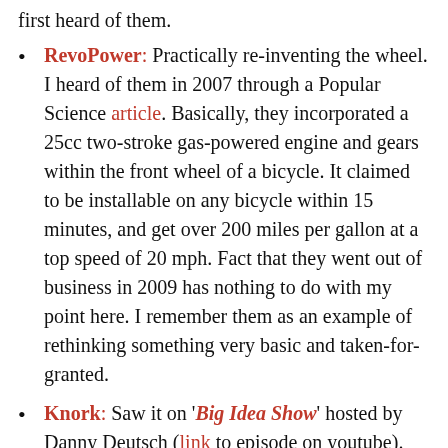first heard of them.
RevoPower: Practically re-inventing the wheel. I heard of them in 2007 through a Popular Science article. Basically, they incorporated a 25cc two-stroke gas-powered engine and gears within the front wheel of a bicycle. It claimed to be installable on any bicycle within 15 minutes, and get over 200 miles per gallon at a top speed of 20 mph. Fact that they went out of business in 2009 has nothing to do with my point here. I remember them as an example of rethinking something very basic and taken-for-granted.
Knork: Saw it on 'Big Idea Show' hosted by Danny Deutsch (link to episode on youtube). Simple idea about combining a knife and a fork. My first reaction was